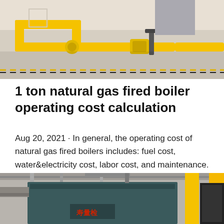[Figure (photo): Industrial yellow gas pipes on a light gray concrete floor in a boiler room facility]
1 ton natural gas fired boiler operating cost calculation
Aug 20, 2021 · In general, the operating cost of natural gas fired boilers includes: fuel cost, water&electricity cost, labor cost, and maintenance. Calculate the operating cost of the boiler 1tph by taking 1 hour as an example. 1. Gas cost…
[Figure (photo): Industrial boiler equipment with teal/dark green body and yellow structural frame in a facility, with Chinese characters on the front panel]